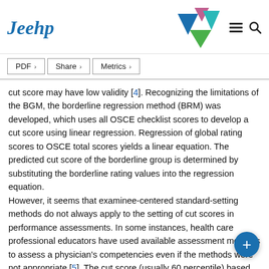Jeehp
[Figure (logo): Jeehp journal logo with colorful triangle/arrow graphic and hamburger menu and search icons]
PDF  Share  Metrics
cut score may have low validity [4]. Recognizing the limitations of the BGM, the borderline regression method (BRM) was developed, which uses all OSCE checklist scores to develop a cut score using linear regression. Regression of global rating scores to OSCE total scores yields a linear equation. The predicted cut score of the borderline group is determined by substituting the borderline rating values into the regression equation. However, it seems that examinee-centered standard-setting methods do not always apply to the setting of cut scores in performance assessments. In some instances, health care professional educators have used available assessment methods to assess a physician’s competencies even if the methods were not appropriate [5]. The cut score (usually 60 percentile) based on the norm-referenced standard setting is also used in the performance assessment [6]. This standard setting is easy to understand and apply. However, norm-referenced standard setting is difficult to justify because it does not consider the